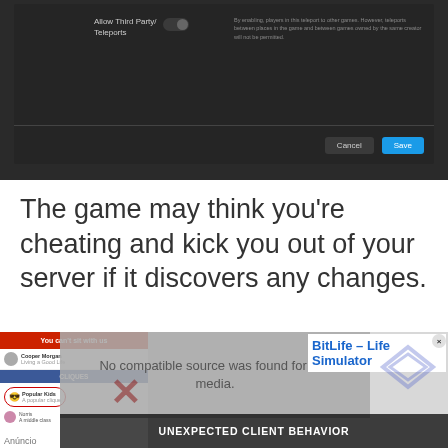[Figure (screenshot): Dark-themed game settings dialog showing 'Allow Third Party Teleports' toggle with a description text, and Cancel/Save buttons at bottom right]
The game may think you’re cheating and kick you out of your server if it discovers any changes.
[Figure (screenshot): Video player overlay showing 'No compatible source was found for this media.' text, overlaid on an ad for BitLife - Life Simulator game and another ad 'You can’t sit with us' for a cliques game. Bottom shows 'UNEXPECTED CLIENT BEHAVIOR ERROR 268 FIX' text partially visible. An 'Anuncio' (advertisement) label is at the bottom left.]